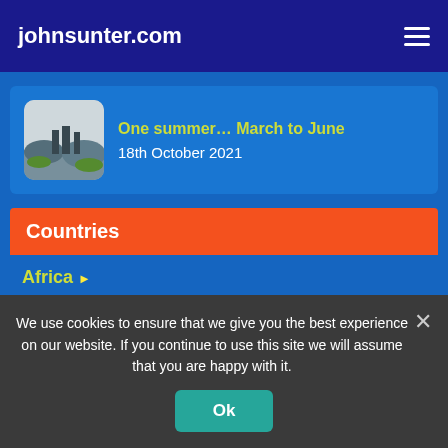johnsunter.com
One summer… March to June
18th October 2021
Countries
Africa ▶
Americas ▶
Australia ▶
Central Asia…
We use cookies to ensure that we give you the best experience on our website. If you continue to use this site we will assume that you are happy with it.